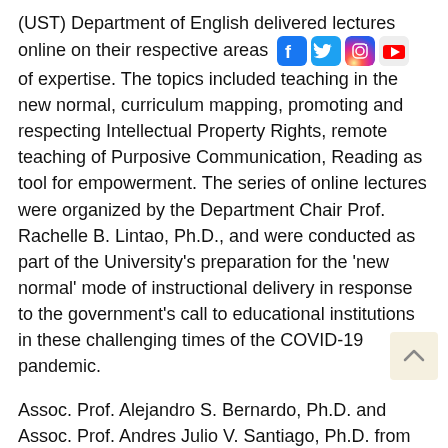(UST) Department of English delivered lectures online on their respective areas of expertise. The topics included teaching in the new normal, curriculum mapping, promoting and respecting Intellectual Property Rights, remote teaching of Purposive Communication, Reading as tool for empowerment. The series of online lectures were organized by the Department Chair Prof. Rachelle B. Lintao, Ph.D., and were conducted as part of the University's preparation for the 'new normal' mode of instructional delivery in response to the government's call to educational institutions in these challenging times of the COVID-19 pandemic.
Assoc. Prof. Alejandro S. Bernardo, Ph.D. and Assoc. Prof. Andres Julio V. Santiago, Ph.D. from the Department of English delivered online lectures titled “COVID-19, ECQ, and ELT: English Language Teaching in the New (ab)Normal” and “Curriculum Mapping in Tertiary Level Education” respectively.
Bernardo, the Assistant Dean of the UST Faculty of Arts and Letters and a renowned speaker on the English